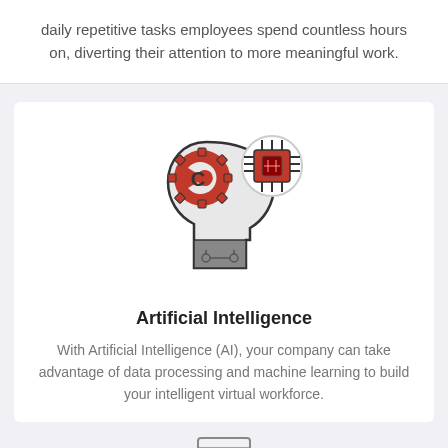daily repetitive tasks employees spend countless hours on, diverting their attention to more meaningful work.
[Figure (illustration): Icon of a human head silhouette in profile with red gear/cog in the brain area, and a microchip circuit board icon in a circle to the upper right.]
Artificial Intelligence
With Artificial Intelligence (AI), your company can take advantage of data processing and machine learning to build your intelligent virtual workforce.
[Figure (illustration): Partial icon visible at bottom of page, appears to be a document or screen icon.]